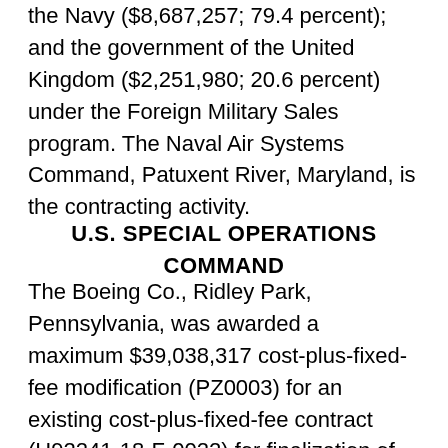the Navy ($8,687,257; 79.4 percent); and the government of the United Kingdom ($2,251,980; 20.6 percent) under the Foreign Military Sales program.  The Naval Air Systems Command, Patuxent River, Maryland, is the contracting activity.
U.S. SPECIAL OPERATIONS COMMAND
The Boeing Co., Ridley Park, Pennsylvania, was awarded a maximum $39,038,317 cost-plus-fixed-fee modification (PZ0003) for an existing cost-plus-fixed-fee contract (H92241-18-F-0022) for finalization of four new-build MH-47G rotary wing aircraft.  This action is required to...